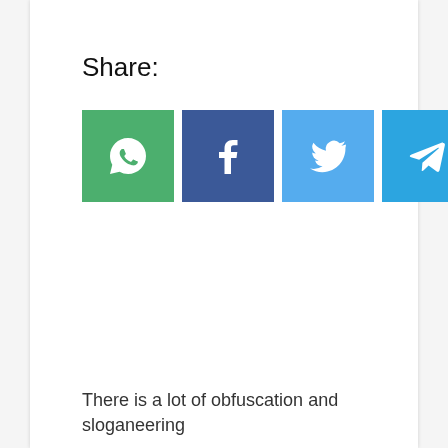Share:
[Figure (infographic): Six social share buttons: WhatsApp (green), Facebook (dark blue), Twitter (light blue), Telegram (blue), Reddit (orange), Email (gray)]
There is a lot of obfuscation and sloganeering